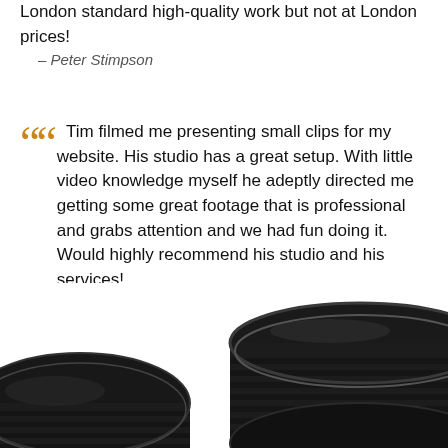London standard high-quality work but not at London prices!
– Peter Stimpson
Tim filmed me presenting small clips for my website. His studio has a great setup. With little video knowledge myself he adeptly directed me getting some great footage that is professional and grabs attention and we had fun doing it. Would highly recommend his studio and his services!
– William Greenhouse
[Figure (photo): Close-up photo of a black camera lens, showing the cylindrical body with ridged texture and metallic rings, shot from a slightly elevated angle against a white background.]